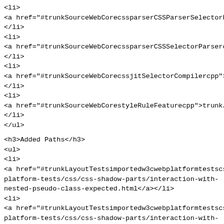<li>
<a href="#trunkSourceWebCorecssparserCSSParserSelectorh">…
</li>
<li>
<a href="#trunkSourceWebCorecssparserCSSSelectorParsercpp…
</li>
<li>
<a href="#trunkSourceWebCorecssjitSelectorCompilercpp">tr…
</li>
<li>
<a href="#trunkSourceWebCorestyleRuleFeaturecpp">trunk/So…
</li>
</ul>
<h3>Added Paths</h3>
<ul>
<li>
<a href="#trunkLayoutTestsimportedw3cwebplatformtestscss…
platform-tests/css/css-shadow-parts/interaction-with-
nested-pseudo-class-expected.html</a></li>
<li>
<a href="#trunkLayoutTestsimportedw3cwebplatformtestscss…
platform-tests/css/css-shadow-parts/interaction-with-
nested-pseudo-class.html</a></li>
<li>
<a href="#trunkLayoutTestsimportedw3cwebplatformtestscss…
platform-tests/css/css-shadow-parts/invalidation-part-
pseudo-expected.txt</a></li>
<li>
<a href="#trunkLayoutTestsimportedw3cwebplatformtestscss…